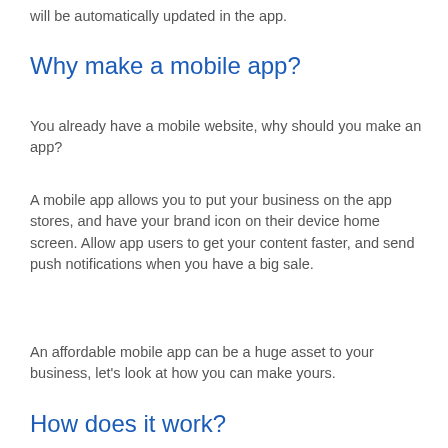will be automatically updated in the app.
Why make a mobile app?
You already have a mobile website, why should you make an app?
A mobile app allows you to put your business on the app stores, and have your brand icon on their device home screen. Allow app users to get your content faster, and send push notifications when you have a big sale.
An affordable mobile app can be a huge asset to your business, let's look at how you can make yours.
How does it work?